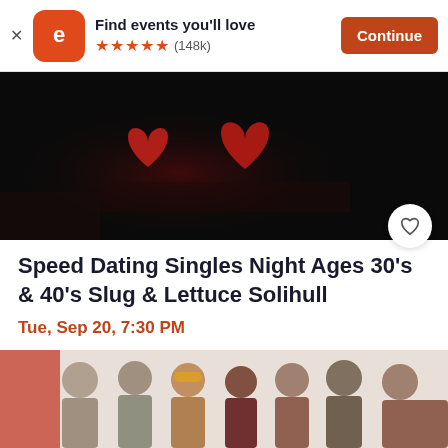[Figure (screenshot): Eventbrite app banner with logo, tagline, star rating, and Continue button]
[Figure (photo): Dark background with red heart decorations as event hero image]
Speed Dating Singles Night Ages 30's & 40's Slug & Lettuce Solihull
Tue, Sep 20, 7:30 PM
Slug & Lettuce Solihull • Solihull
£16.74 - £38.32
[Figure (photo): Group of young people posing together, partial view at bottom of page]